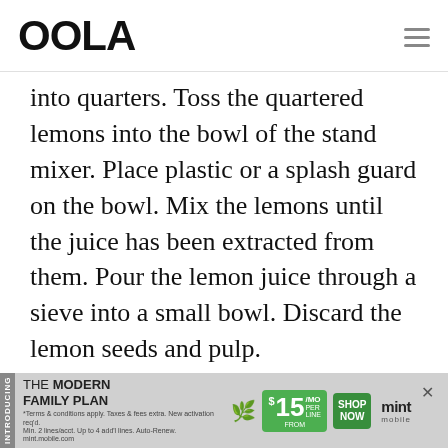OOLA
into quarters. Toss the quartered lemons into the bowl of the stand mixer. Place plastic or a splash guard on the bowl. Mix the lemons until the juice has been extracted from them. Pour the lemon juice through a sieve into a small bowl. Discard the lemon seeds and pulp.
5  Combine the lemon juice and the simple syrup in a pitcher. Pour in cold water to taste — more can be added later. Adding ice
[Figure (advertisement): Mint Mobile advertisement: THE MODERN FAMILY PLAN FROM $15/MO PER LINE SHOP NOW]